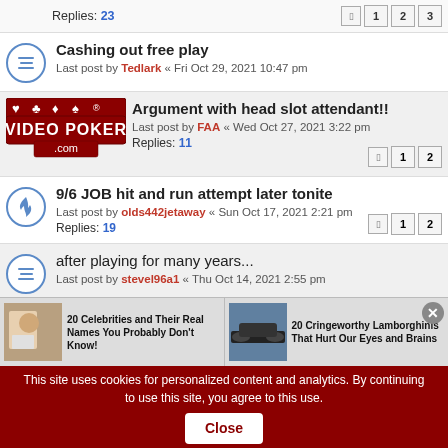Replies: 23 [pages 1 2 3]
Cashing out free play
Last post by Tedlark « Fri Oct 29, 2021 10:47 pm
[Figure (logo): Video Poker .com logo with card suits]
Argument with head slot attendant!!
Last post by FAA « Wed Oct 27, 2021 3:22 pm
Replies: 11 [pages 1 2]
9/6 JOB hit and run attempt later tonite
Last post by olds442jetaway « Sun Oct 17, 2021 2:21 pm
Replies: 19 [pages 1 2]
after playing for many years...
Last post by stevel96a1 « Thu Oct 14, 2021 2:55 pm
Bounce Back Free Play
Last post by dinghy « Sun Oct 03, 2021 4:29 pm
Replies: 8
Bonus Poker Deluxe
[Figure (screenshot): Ad banner: 20 Celebrities and Their Real Names You Probably Don't Know! | 20 Cringeworthy Lamborghinis That Hurt Our Eyes and Brains]
This site uses cookies for personalized content and analytics. By continuing to use this site, you agree to this use. [Close]